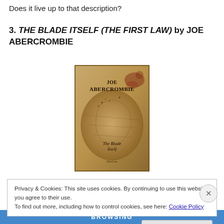Does it live up to that description?
3. THE BLADE ITSELF (THE FIRST LAW) by JOE ABERCROMBIE
[Figure (illustration): Book cover of 'The Blade Itself' by Joe Abercrombie, showing a worn parchment map background with the author name and title in stylized text]
Privacy & Cookies: This site uses cookies. By continuing to use this website, you agree to their use.
To find out more, including how to control cookies, see here: Cookie Policy
Close and accept